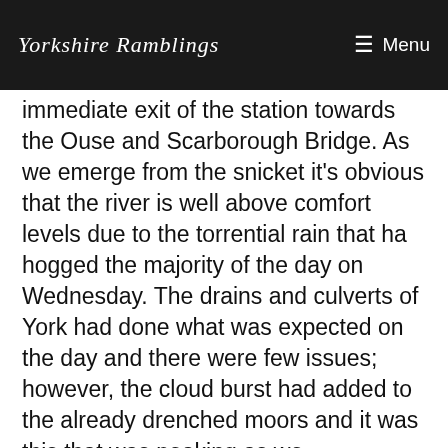Yorkshire Ramblings   ☰ Menu
immediate exit of the station towards the Ouse and Scarborough Bridge. As we emerge from the snicket it's obvious that the river is well above comfort levels due to the torrential rain that ha hogged the majority of the day on Wednesday. The drains and culverts of York had done what was expected on the day and there were few issues; however, the cloud burst had added to the already drenched moors and it was this that was peaking as we approached.